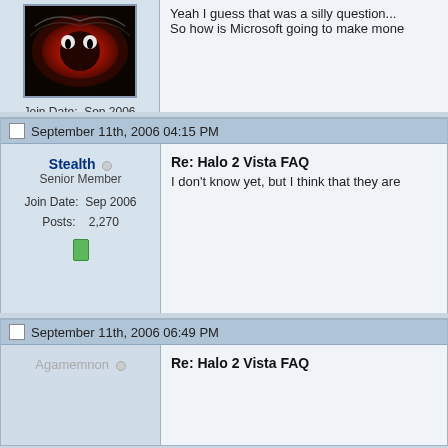[Figure (screenshot): Forum thread page showing user avatar (red eye), user info, and two posts about Halo 2 Vista FAQ]
Yeah I guess that was a silly question... So how is Microsoft going to make mone
Join Date: Sep 2006
Posts: 538
September 11th, 2006 04:15 PM
Stealth
Senior Member
Join Date: Sep 2006
Posts: 2,270
Re: Halo 2 Vista FAQ
I don't know yet, but I think that they are
September 11th, 2006 06:49 PM
Agamemnon
Re: Halo 2 Vista FAQ